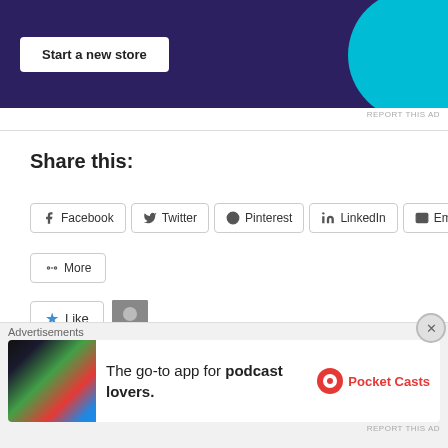[Figure (screenshot): Advertisement banner with dark purple background, 'Start a new store' white button, and cyan/blue circle on the right]
REPORT THIS AD
Share this:
Facebook
Twitter
Pinterest
LinkedIn
Email
More
Like
One blogger likes this.
Related
[Figure (screenshot): Advertisement overlay: Pocket Casts - The go-to app for podcast lovers]
Advertisements
REPORT THIS AD